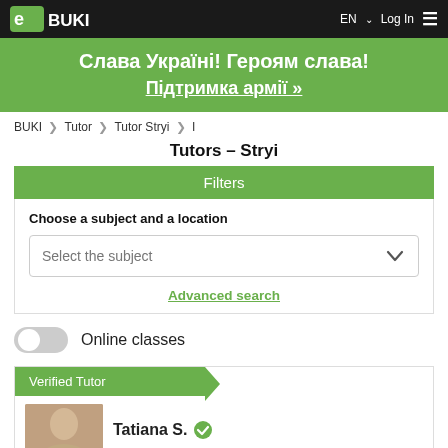eBUKI | EN | Log In
Слава Україні! Героям слава!
Підтримка армії »
BUKI > Tutor > Tutor Stryi > І
Tutors – Stryi
Filters
Choose a subject and a location
Select the subject
Advanced search
Online classes
Verified Tutor
Tatiana S.